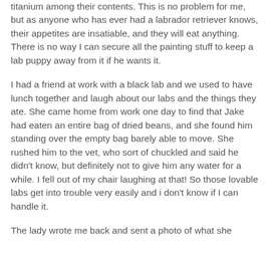titanium among their contents.  This is no problem for me, but as anyone who has ever had a labrador retriever knows, their appetites are insatiable, and they will eat anything.  There is no way I can secure all the painting stuff to keep a lab puppy away from it if he wants it.
I had a friend at work with a black lab and we used to have lunch together and laugh about our labs and the things they ate.  She came home from work one day to find that Jake had eaten an entire bag of dried beans, and she found him standing over the empty bag barely able to move.  She rushed him to the vet, who sort of chuckled and said he didn't know, but definitely not to give him any water for a while.  I fell out of my chair laughing at that!  So those lovable labs get into trouble very easily and i don't know if I can handle it.
The lady wrote me back and sent a photo of what she